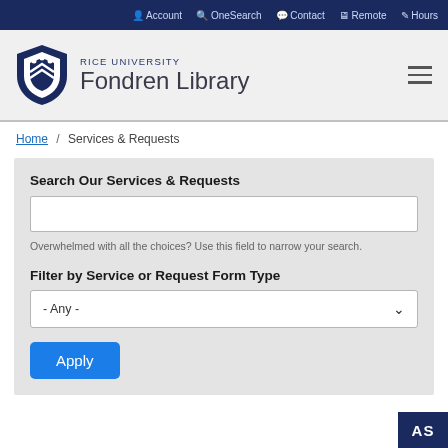Account | OneSearch | Contact | Remote | Hours
[Figure (logo): Rice University Fondren Library logo with shield emblem and text]
Home / Services & Requests
Search Our Services & Requests
Overwhelmed with all the choices? Use this field to narrow your search.
Filter by Service or Request Form Type
- Any -
Apply